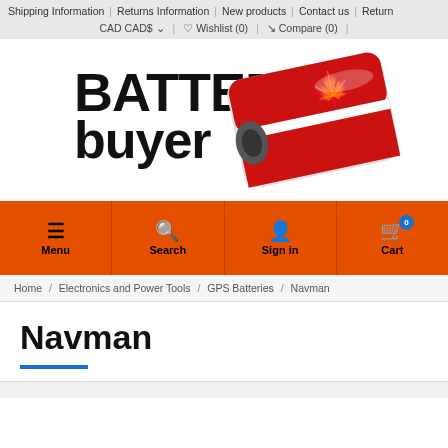Shipping Information | Returns Information | New products | Contact us | Return
CAD CAD$ ˅  ♡ Wishlist (0)  ⇄ Compare (0)
[Figure (logo): Battery Buyer logo with Canadian flag battery image]
Menu  Search  Sign in  Cart
Home / Electronics and Power Tools / GPS Batteries / Navman
Navman